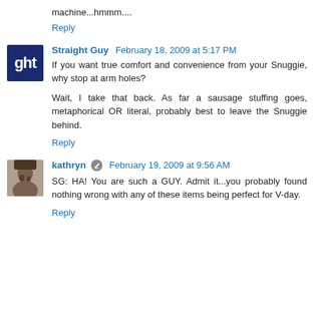machine...hmmm....
Reply
Straight Guy  February 18, 2009 at 5:17 PM
If you want true comfort and convenience from your Snuggie, why stop at arm holes?

Wait, I take that back. As far a sausage stuffing goes, metaphorical OR literal, probably best to leave the Snuggie behind.
Reply
kathryn  February 19, 2009 at 9:56 AM
SG: HA! You are such a GUY. Admit it...you probably found nothing wrong with any of these items being perfect for V-day.
Reply